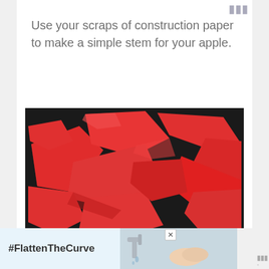Use your scraps of construction paper to make a simple stem for your apple.
[Figure (photo): Torn scraps of red tissue/construction paper spread on a dark surface. Watermark reads creativefamilyfun.com]
Next, tear your tissue paper into
#FlattenTheCurve [advertisement banner]